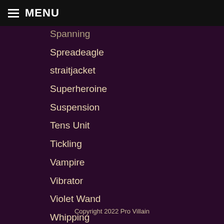MENU
Spanning
Spreadeagle
straitjacket
Superheroine
Suspension
Tens Unit
Tickling
Vampire
Vibrator
Violet Wand
Whipping
Copyright 2022 Pro Villain